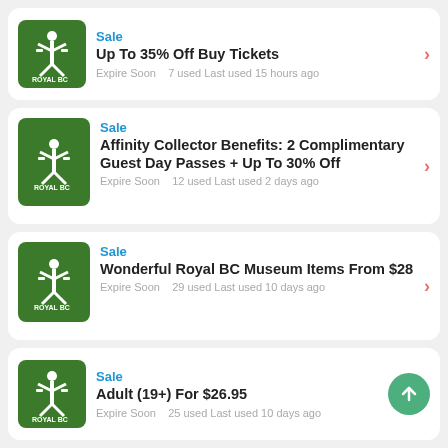Sale | Up To 35% Off Buy Tickets | Expire Soon 7 used Last used 15 hours ago
Sale | Affinity Collector Benefits: 2 Complimentary Guest Day Passes + Up To 30% Off | Expire Soon 12 used Last used 2 days ago
Sale | Wonderful Royal BC Museum Items From $28 | Expire Soon 29 used Last used 10 days ago
Sale | Adult (19+) For $26.95 | Expire Soon 25 used Last used 10 days ago
Sale | Land Snails Of British Columbia For $25.95